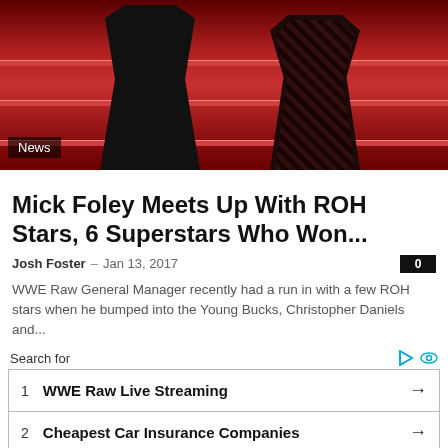[Figure (photo): Wrestling ring photo with two figures, red ropes visible, dark background]
News
Mick Foley Meets Up With ROH Stars, 6 Superstars Who Won...
Josh Foster – Jan 13, 2017  0
WWE Raw General Manager recently had a run in with a few ROH stars when he bumped into the Young Bucks, Christopher Daniels and...
Search for
1  WWE Raw Live Streaming  →
2  Cheapest Car Insurance Companies  →
Search for
1  Machine Learning Courses
2  Free Online Courses